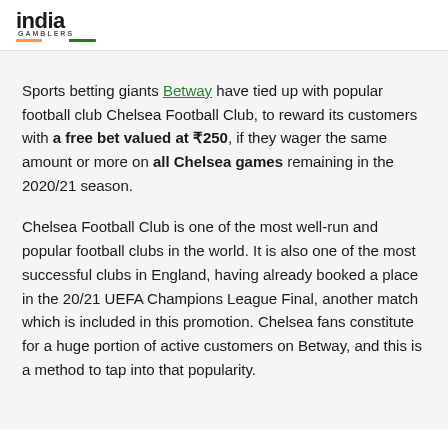india GAMBLERS
Sports betting giants Betway have tied up with popular football club Chelsea Football Club, to reward its customers with a free bet valued at ₹250, if they wager the same amount or more on all Chelsea games remaining in the 2020/21 season.
Chelsea Football Club is one of the most well-run and popular football clubs in the world. It is also one of the most successful clubs in England, having already booked a place in the 20/21 UEFA Champions League Final, another match which is included in this promotion. Chelsea fans constitute for a huge portion of active customers on Betway, and this is a method to tap into that popularity.